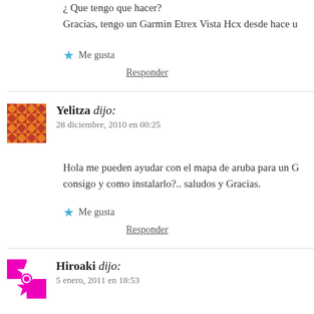¿ Que tengo que hacer?
Gracias, tengo un Garmin Etrex Vista Hcx desde hace u
★ Me gusta
Responder
Yelitza dijo:
28 diciembre, 2010 en 00:25
Hola me pueden ayudar con el mapa de aruba para un G consigo y como instalarlo?.. saludos y Gracias.
★ Me gusta
Responder
Hiroaki dijo:
5 enero, 2011 en 18:53